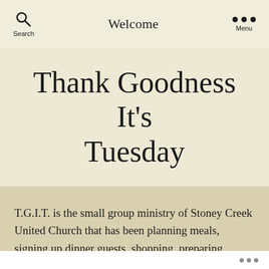Welcome
Thank Goodness It's Tuesday
T.G.I.T. is the small group ministry of Stoney Creek United Church that has been planning meals, signing up dinner guests, shopping, preparing, cooking, serving and cleaning up after dinner for well over 4 years.  We have